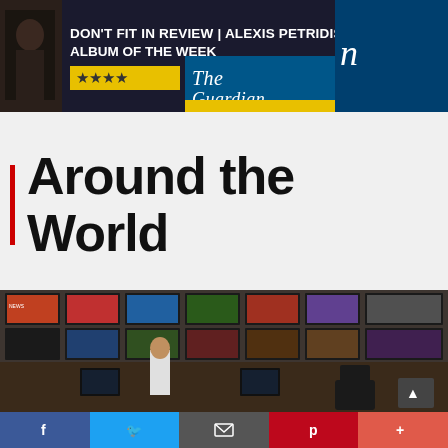[Figure (screenshot): The Guardian website banner ad showing 'DON'T FIT IN REVIEW | ALEXIS PETRIDIS'S ALBUM OF THE WEEK' with star rating and The Guardian logo]
Around the World
[Figure (photo): People sitting in a TV monitoring room with a wall of multiple television screens showing various news broadcasts, viewed from behind]
[Figure (infographic): Social media sharing bar with Facebook, Twitter, Email, Pinterest, and More buttons]